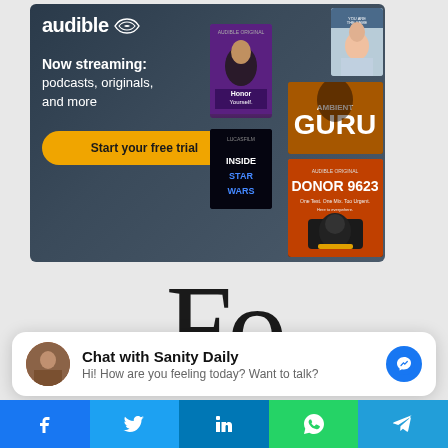[Figure (screenshot): Audible advertisement banner showing logo, 'Now streaming: podcasts, originals, and more', a 'Start your free trial' button, and several book/podcast cover images including Honor Yourself, GURU, Inside Star Wars, DONOR 9623, and a woman]
[Figure (screenshot): Partial large decorative serif letters 'Fo' visible on light gray background, appears to be a website logo]
[Figure (screenshot): Facebook Messenger chat widget with avatar photo, title 'Chat with Sanity Daily', subtitle 'Hi! How are you feeling today? Want to talk?', and messenger icon button]
[Figure (screenshot): Social sharing bar at bottom with Facebook, Twitter, LinkedIn, WhatsApp, and Telegram buttons]